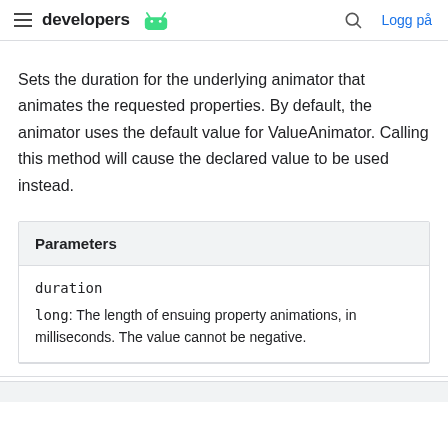developers [android logo] | search | Logg på
Sets the duration for the underlying animator that animates the requested properties. By default, the animator uses the default value for ValueAnimator. Calling this method will cause the declared value to be used instead.
| Parameters |
| --- |
| duration | long: The length of ensuing property animations, in milliseconds. The value cannot be negative. |